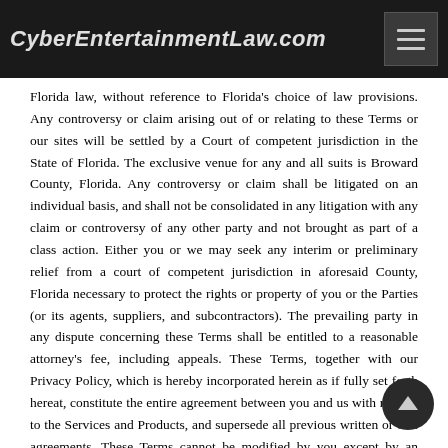CyberEntertainmentLaw.com
Florida law, without reference to Florida's choice of law provisions. Any controversy or claim arising out of or relating to these Terms or our sites will be settled by a Court of competent jurisdiction in the State of Florida. The exclusive venue for any and all suits is Broward County, Florida. Any controversy or claim shall be litigated on an individual basis, and shall not be consolidated in any litigation with any claim or controversy of any other party and not brought as part of a class action. Either you or we may seek any interim or preliminary relief from a court of competent jurisdiction in aforesaid County, Florida necessary to protect the rights or property of you or the Parties (or its agents, suppliers, and subcontractors). The prevailing party in any dispute concerning these Terms shall be entitled to a reasonable attorney's fee, including appeals. These Terms, together with our Privacy Policy, which is hereby incorporated herein as if fully set forth hereat, constitute the entire agreement between you and us with respect to the Services and Products, and supersede all previous written or oral agreements. These Terms cannot be modified by you except by an instrument in writing executed by all parties. If any part of these Terms is determined invalid or unenforceable pursuant to applicable law, then the invalid or unenforceable provision will be deemed superseded by a valid, enforceable provision